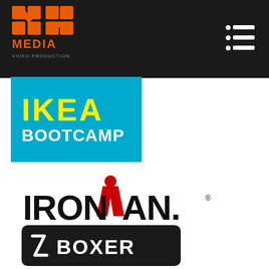[Figure (logo): NG Media Video Production logo in dark header bar - orange and white text on dark background]
[Figure (logo): Hamburger/menu icon (three rows of dot + line) in white on dark header]
[Figure (logo): IKEA BOOTCAMP badge - yellow 'IKEA' and white 'BOOTCAMP' text on cyan/blue background]
[Figure (logo): IRONMAN logo - bold black text with red figure/dot above the M, with trademark symbol]
[Figure (logo): BOXER logo - white text on black rounded rectangle with stylized chevron-Z icon]